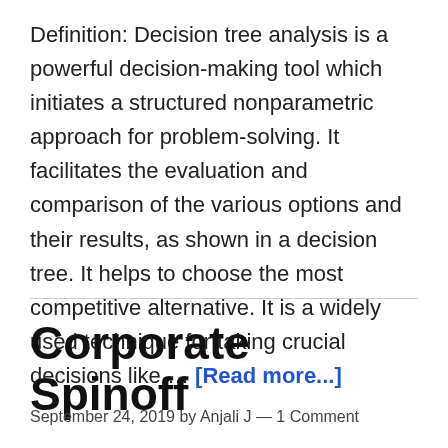Definition: Decision tree analysis is a powerful decision-making tool which initiates a structured nonparametric approach for problem-solving. It facilitates the evaluation and comparison of the various options and their results, as shown in a decision tree. It helps to choose the most competitive alternative. It is a widely used technique for taking crucial decisions like … [Read more...]
Corporate Spinoff
September 24, 2019 by Anjali J — 1 Comment